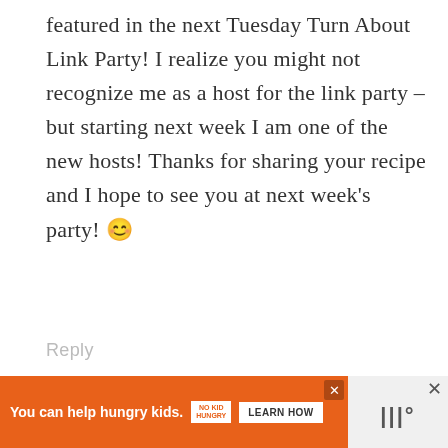featured in the next Tuesday Turn About Link Party! I realize you might not recognize me as a host for the link party – but starting next week I am one of the new hosts! Thanks for sharing your recipe and I hope to see you at next week's party! 🙂
Reply
SHAUNA OBERG says
JANUARY 2022 AT 10:25 AM
Thank you, Cindy! Looking forward to...
[Figure (infographic): Orange advertisement bar: 'You can help hungry kids.' with No Kid Hungry logo and 'Learn How' button. Black right panel with X close button and temperature icon.]